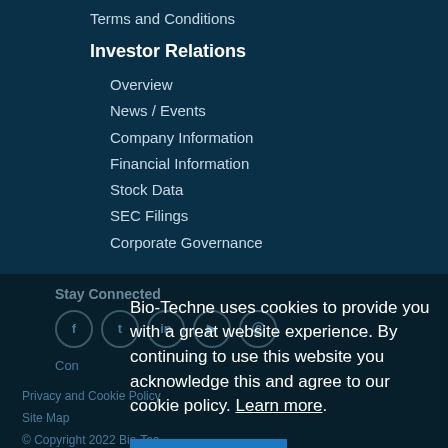Terms and Conditions
Investor Relations
Overview
News / Events
Company Information
Financial Information
Stock Data
SEC Filings
Corporate Governance
Stay Connected
Bio-Techne uses cookies to provide you with a great website experience. By continuing to use this website you acknowledge this and agree to our cookie policy. Learn more.
I Agree
Chat now
Privacy and Cookie Policy
Site Map
© Copyright 2022 Bio-Tec